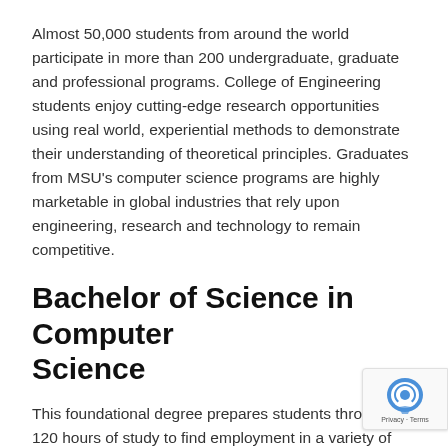Almost 50,000 students from around the world participate in more than 200 undergraduate, graduate and professional programs. College of Engineering students enjoy cutting-edge research opportunities using real world, experiential methods to demonstrate their understanding of theoretical principles. Graduates from MSU's computer science programs are highly marketable in global industries that rely upon engineering, research and technology to remain competitive.
Bachelor of Science in Computer Science
This foundational degree prepares students through 120 hours of study to find employment in a variety of workplace settings including: automotive, chemical, business, petroleum, publishing, educational, telecommunications and construction industries. Students engage in 45 hours of general education core classes, approximately 60 hours in classes from the